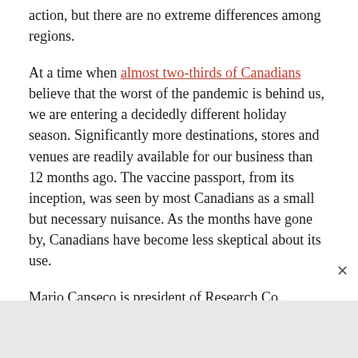action, but there are no extreme differences among regions.
At a time when almost two-thirds of Canadians believe that the worst of the pandemic is behind us, we are entering a decidedly different holiday season. Significantly more destinations, stores and venues are readily available for our business than 12 months ago. The vaccine passport, from its inception, was seen by most Canadians as a small but necessary nuisance. As the months have gone by, Canadians have become less skeptical about its use.
Mario Canseco is president of Research Co.
Results are based on an online study conducted from